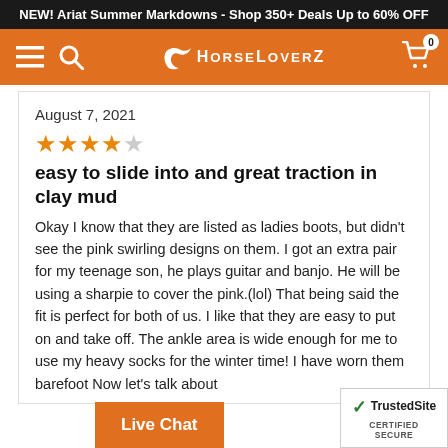NEW! Ariat Summer Markdowns - Shop 350+ Deals Up to 60% OFF
[Figure (logo): HorseLoverZ navigation bar with hamburger menu, search icon, horse logo, and shopping cart icon]
August 7, 2021
[Figure (other): 4 out of 5 stars rating]
easy to slide into and great traction in clay mud
Okay I know that they are listed as ladies boots, but didn't see the pink swirling designs on them. I got an extra pair for my teenage son, he plays guitar and banjo. He will be using a sharpie to cover the pink.(lol) That being said the fit is perfect for both of us. I like that they are easy to put on and take off. The ankle area is wide enough for me to use my heavy socks for the winter time! I have worn them barefoot Now let's talk about